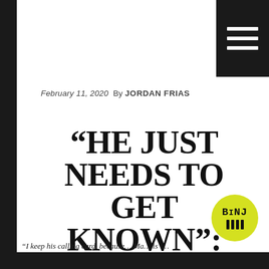February 11, 2020 By JORDAN FRIAS
“HE JUST NEEDS TO GET KNOWN”: PATRICK SUPPORTERS IN NH HAVE EYES SET ON OTHER STATES
[Figure (logo): BINJ circular logo in yellow-green with white text and antenna/legs design]
“I keep his calling card, because… Ma… is i…